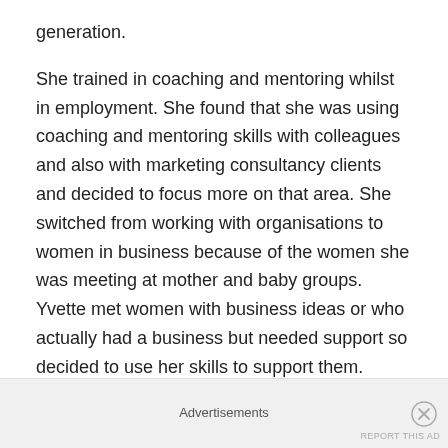generation.
She trained in coaching and mentoring whilst in employment. She found that she was using coaching and mentoring skills with colleagues and also with marketing consultancy clients and decided to focus more on that area. She switched from working with organisations to women in business because of the women she was meeting at mother and baby groups. Yvette met women with business ideas or who actually had a business but needed support so decided to use her skills to support them.
Yvette recently become an accredited Bird Table coach –
Advertisements